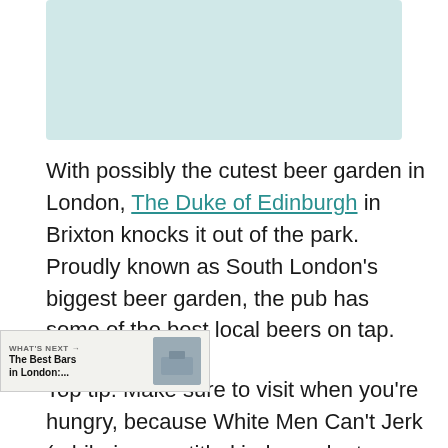[Figure (photo): Photo placeholder showing a beer garden scene, teal/blue-green background]
With possibly the cutest beer garden in London, The Duke of Edinburgh in Brixton knocks it out of the park. Proudly known as South London's biggest beer garden, the pub has some of the best local beers on tap.
Top tip: Make sure to visit when you're hungry, because White Men Can't Jerk (a hilariously titled independent kitchen) serve the best jerk chicken and Caribbean fusion food, whilst also bringing a party atmosphere to the otherwise chill pub